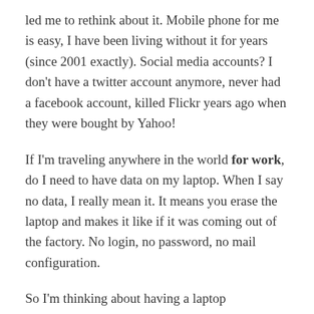led me to rethink about it. Mobile phone for me is easy, I have been living without it for years (since 2001 exactly). Social media accounts? I don't have a twitter account anymore, never had a facebook account, killed Flickr years ago when they were bought by Yahoo!
If I'm traveling anywhere in the world for work, do I need to have data on my laptop. When I say no data, I really mean it. It means you erase the laptop and makes it like if it was coming out of the factory. No login, no password, no mail configuration.
So I'm thinking about having a laptop specifically for traveling with a clean install and wondering what would be the consequences for working. Be for myself and my team mates.